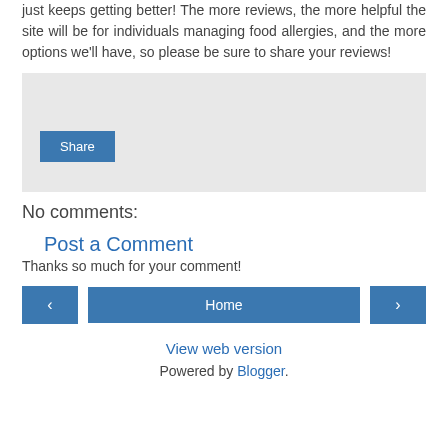just keeps getting better! The more reviews, the more helpful the site will be for individuals managing food allergies, and the more options we'll have, so please be sure to share your reviews!
[Figure (screenshot): Share button widget area with light gray background and a blue Share button]
No comments:
Post a Comment
Thanks so much for your comment!
[Figure (screenshot): Navigation bar with left arrow button, Home button, and right arrow button]
View web version
Powered by Blogger.